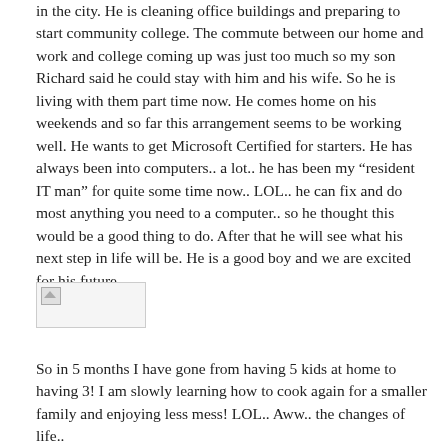in the city. He is cleaning office buildings and preparing to start community college. The commute between our home and work and college coming up was just too much so my son Richard said he could stay with him and his wife. So he is living with them part time now. He comes home on his weekends and so far this arrangement seems to be working well. He wants to get Microsoft Certified for starters. He has always been into computers.. a lot.. he has been my “resident IT man” for quite some time now.. LOL.. he can fix and do most anything you need to a computer.. so he thought this would be a good thing to do. After that he will see what his next step in life will be. He is a good boy and we are excited for his future.
[Figure (photo): Broken/unloaded image placeholder shown as a small thumbnail with broken image icon]
So in 5 months I have gone from having 5 kids at home to having 3! I am slowly learning how to cook again for a smaller family and enjoying less mess! LOL.. Aww.. the changes of life..